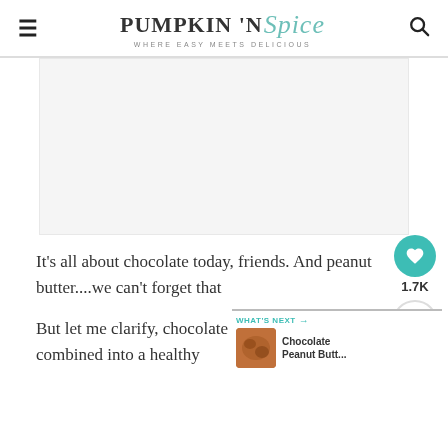PUMPKIN 'N Spice — WHERE EASY MEETS DELICIOUS
[Figure (photo): Placeholder image area for a food blog article photo]
It's all about chocolate today, friends. And peanut butter....we can't forget that
But let me clarify, chocolate and butter that's combined into a healthy
WHAT'S NEXT → Chocolate Peanut Butt...